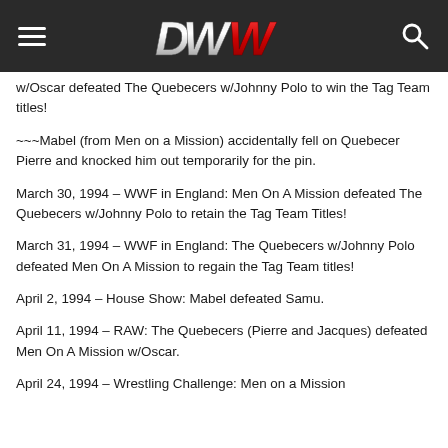OWW (logo)
w/Oscar defeated The Quebecers w/Johnny Polo to win the Tag Team titles!
~~~Mabel (from Men on a Mission) accidentally fell on Quebecer Pierre and knocked him out temporarily for the pin.
March 30, 1994 – WWF in England: Men On A Mission defeated The Quebecers w/Johnny Polo to retain the Tag Team Titles!
March 31, 1994 – WWF in England: The Quebecers w/Johnny Polo defeated Men On A Mission to regain the Tag Team titles!
April 2, 1994 – House Show: Mabel defeated Samu.
April 11, 1994 – RAW: The Quebecers (Pierre and Jacques) defeated Men On A Mission w/Oscar.
April 24, 1994 – Wrestling Challenge: Men on a Mission